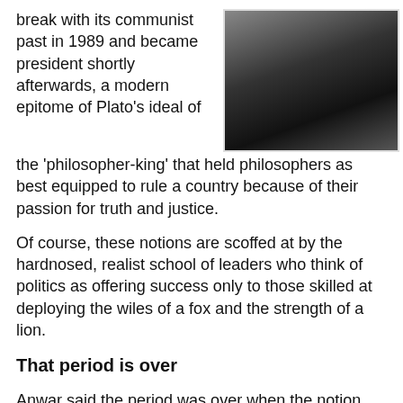break with its communist past in 1989 and became president shortly afterwards, a modern epitome of Plato's ideal of the 'philosopher-king' that held philosophers as best equipped to rule a country because of their passion for truth and justice.
[Figure (photo): Close-up photo of a person, dark background, appears to show a person's neck/lower face area]
Of course, these notions are scoffed at by the hardnosed, realist school of leaders who think of politics as offering success only to those skilled at deploying the wiles of a fox and the strength of a lion.
That period is over
Anwar said the period was over when the notion held sway that Asians had a cultural predisposition to such values as social order, deferred gratification, and respect for hierarchy, in preference to the cacophony of democratic dissent.
[Figure (photo): Photo of a person, appears to be a portrait/headshot]
He said this was the pet